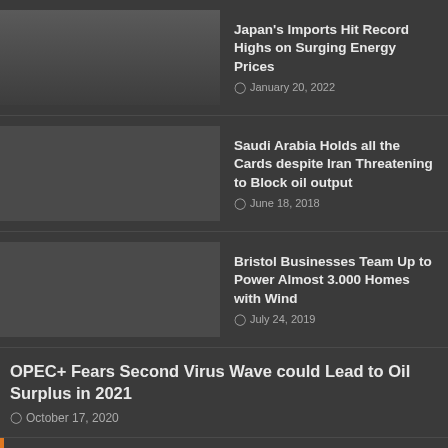Japan's Imports Hit Record Highs on Surging Energy Prices
January 20, 2022
Saudi Arabia Holds all the Cards despite Iran Threatening to Block oil output
June 18, 2018
Bristol Businesses Team Up to Power Almost 3.000 Homes with Wind
July 24, 2019
OPEC+ Fears Second Virus Wave could Lead to Oil Surplus in 2021
October 17, 2020
LATEST POSTS
China Extends Power Curbs as Heatwave and Drought Persist
4 hours ago